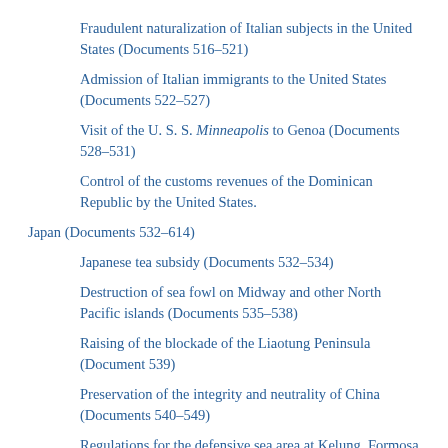Fraudulent naturalization of Italian subjects in the United States (Documents 516–521)
Admission of Italian immigrants to the United States (Documents 522–527)
Visit of the U. S. S. Minneapolis to Genoa (Documents 528–531)
Control of the customs revenues of the Dominican Republic by the United States.
Japan (Documents 532–614)
Japanese tea subsidy (Documents 532–534)
Destruction of sea fowl on Midway and other North Pacific islands (Documents 535–538)
Raising of the blockade of the Liaotung Peninsula (Document 539)
Preservation of the integrity and neutrality of China (Documents 540–549)
Regulations for the defensive sea area at Kelung, Formosa